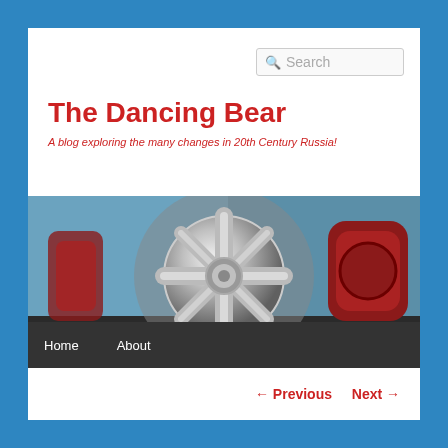Search
The Dancing Bear
A blog exploring the many changes in 20th Century Russia!
[Figure (photo): Close-up photo of a shiny chrome wheel hub/steering wheel with red mechanical components in the background]
Home   About
← Previous   Next →